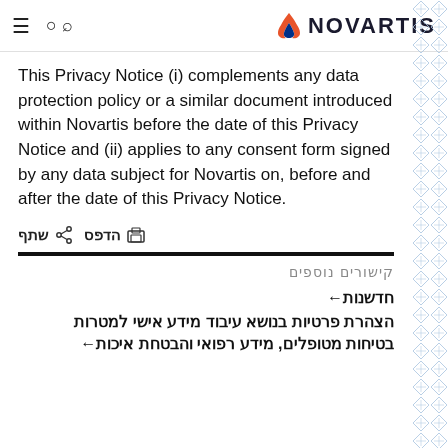NOVARTIS
This Privacy Notice (i) complements any data protection policy or a similar document introduced within Novartis before the date of this Privacy Notice and (ii) applies to any consent form signed by any data subject for Novartis on, before and after the date of this Privacy Notice.
שתף  הדפס
קישורים נוספים
→חדשנות
הצהרת פרטיות בנושא עיבוד מידע אישי למטרות בטיחות מטופלים, מידע רפואי והבטחת איכות←